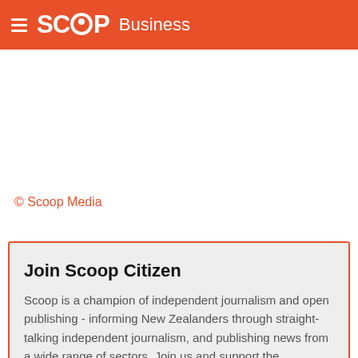SCOOP Business
© Scoop Media
Join Scoop Citizen
Scoop is a champion of independent journalism and open publishing - informing New Zealanders through straight-talking independent journalism, and publishing news from a wide range of sectors. Join us and support the publication of trustworthy, relevant, public interest news, freely